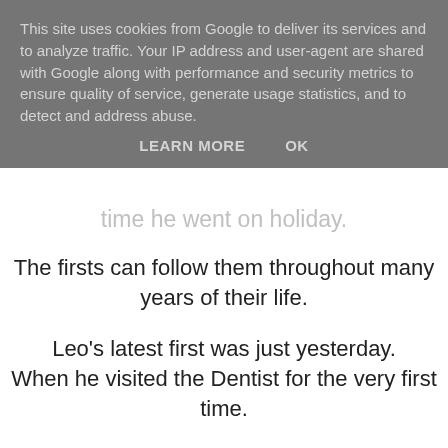This site uses cookies from Google to deliver its services and to analyze traffic. Your IP address and user-agent are shared with Google along with performance and security metrics to ensure quality of service, generate usage statistics, and to detect and address abuse.
LEARN MORE   OK
time he went on holiday.
The firsts can follow them throughout many years of their life.
Leo's latest first was just yesterday.
When he visited the Dentist for the very first time.
In true Leo style they certainly knew he was in the building.
Only moments after arriving he managed to knock my milkshake all over waiting room floor.